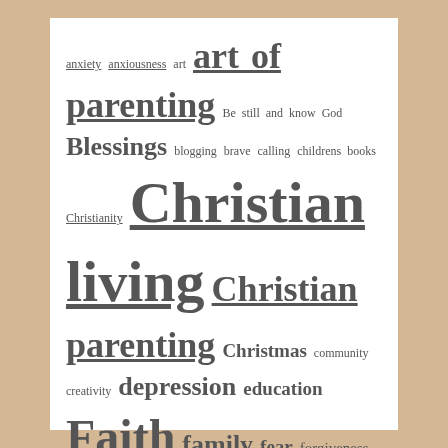[Figure (other): A tag cloud / word cloud containing various blog topic tags in different font sizes indicating popularity. Topics include anxiety, art of parenting, Christian living, Faith, God, inspiration, parenting, prayer, relationships, and many others. Text is gray on white background within a beige-bordered frame.]